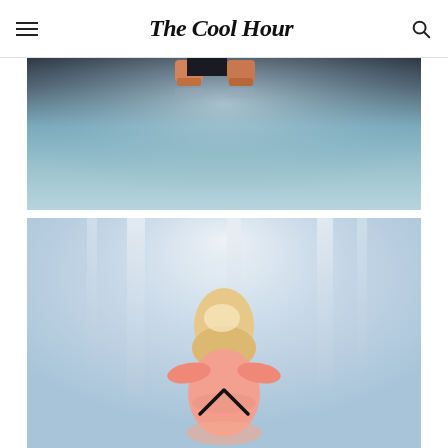The Cool Hour
[Figure (photo): Close-up photograph of feet wearing orange/pink platform shoes on a dark gray floor with blue-gray misty background]
[Figure (photo): Fashion photograph of a blonde model from behind wearing a pink off-shoulder ruffled dress, standing in misty blue-gray atmosphere, with a chevron/up-arrow overlay icon]